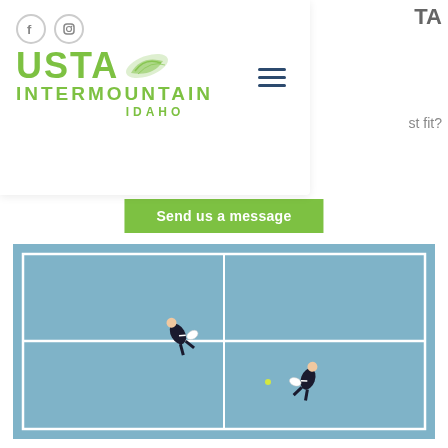[Figure (logo): USTA Intermountain Idaho logo in green with leaf/tennis motif]
TA
st fit?
Send us a message
[Figure (photo): Aerial view of two tennis players on a blue tennis court, shot from directly above]
Get Started with USTA Leagues
The Idaho Tennis Association covers the Treasure Valley, Idaho Falls, Pocatello, Magic...